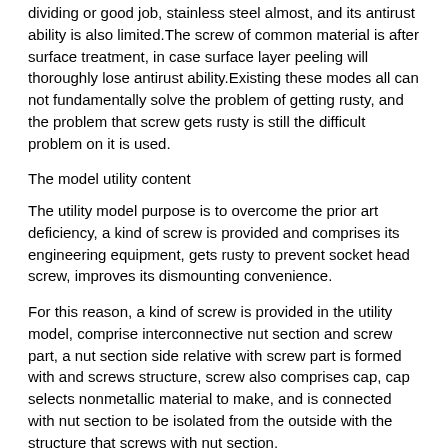dividing or good job, stainless steel almost, and its antirust ability is also limited.The screw of common material is after surface treatment, in case surface layer peeling will thoroughly lose antirust ability.Existing these modes all can not fundamentally solve the problem of getting rusty, and the problem that screw gets rusty is still the difficult problem on it is used.
The model utility content
The utility model purpose is to overcome the prior art deficiency, a kind of screw is provided and comprises its engineering equipment, gets rusty to prevent socket head screw, improves its dismounting convenience.
For this reason, a kind of screw is provided in the utility model, comprise interconnective nut section and screw part, a nut section side relative with screw part is formed with and screws structure, screw also comprises cap, cap selects nonmetallic material to make, and is connected with nut section to be isolated from the outside with the structure that screws with nut section.
Further, above-mentioned nonmetallic material comprise